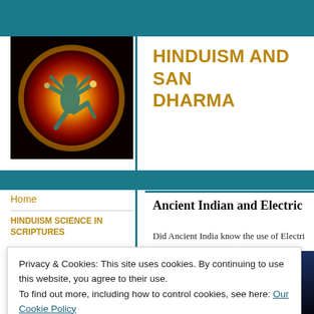[Figure (illustration): Nataraja (dancing Shiva) figure in a cosmic fire circle, golden and red tones]
HINDUISM AND SANATANA DHARMA
Home
HINDUISM SCIENCE IN SCRIPTURES
Ancient Indian and Electricity
Did Ancient India know the use of Electricity
[Figure (photo): Lightning bolt in dark blue sky]
Privacy & Cookies: This site uses cookies. By continuing to use this website, you agree to their use.
To find out more, including how to control cookies, see here: Our Cookie Policy
Close and accept